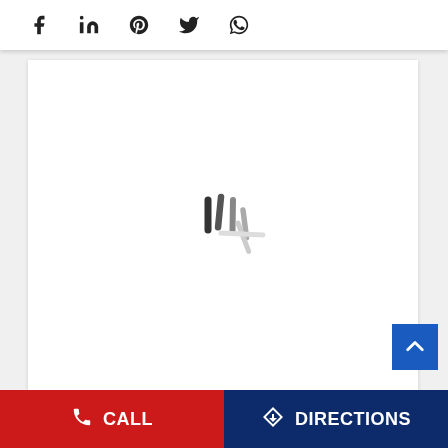[Figure (screenshot): Social media share icons row: Facebook (f), LinkedIn (in), Pinterest (P), Twitter bird, WhatsApp]
[Figure (screenshot): White content card with a loading spinner (animated lines radiating from center) indicating content is loading]
[Figure (infographic): Blue scroll-to-top button with white upward chevron arrow]
[Figure (infographic): Bottom navigation bar with two buttons: red CALL button with phone icon on left, dark blue DIRECTIONS button with diamond navigation icon on right]